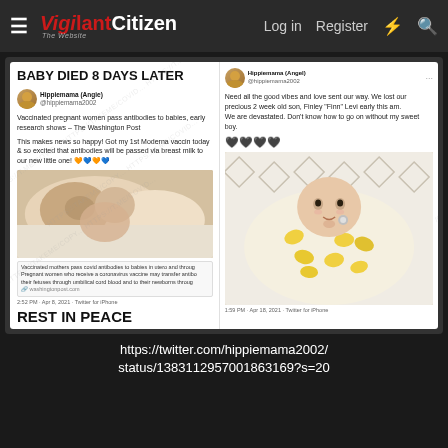VIGILANTCitizen — Log in  Register
[Figure (screenshot): Screenshot of two tweets side by side on a white background. Left tweet: headline 'BABY DIED 8 DAYS LATER', by Hippiemama (Angie) @hippiemama2002, text about vaccinated pregnant women passing antibodies to babies and getting 1st Moderna vaccine, photo of breastfeeding baby, link preview from washingtonpost.com, timestamp '2:52 PM - Apr 8, 2021 - Twitter for iPhone', and 'REST IN PEACE' in bold. Right tweet: by Hippiemama (Angel), text 'Need all the good vibes and love sent our way. We lost our precious 2 week old son, Finley "Finn" Levi early this am. We are devastated. Don't know how to go on without my sweet boy.' with heart emojis, photo of swaddled newborn baby, timestamp '1:59 PM - Apr 18, 2021 - Twitter for iPhone'.]
https://twitter.com/hippiemama2002/status/1383112957001863169?s=20